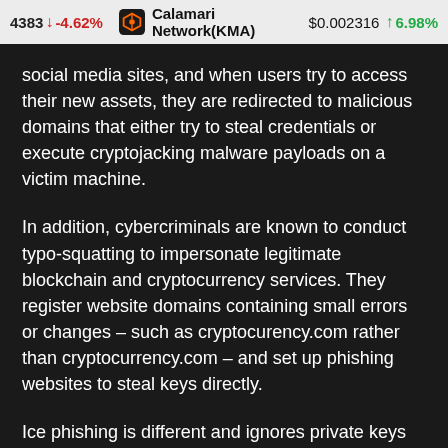4383 ↓ -4.62%   Calamari Network(KMA) $0.002316 ↑ 6.98%
social media sites, and when users try to access their new assets, they are redirected to malicious domains that either try to steal credentials or execute cryptojacking malware payloads on a victim machine.
In addition, cybercriminals are known to conduct typo-squatting to impersonate legitimate blockchain and cryptocurrency services. They register website domains containing small errors or changes – such as cryptocurency.com rather than cryptocurrency.com – and set up phishing websites to steal keys directly.
Ice phishing is different and ignores private keys entirely. This attack method attempts to dupe a victim into signing a transaction that hands over the approval of a user's tokens to a criminal.